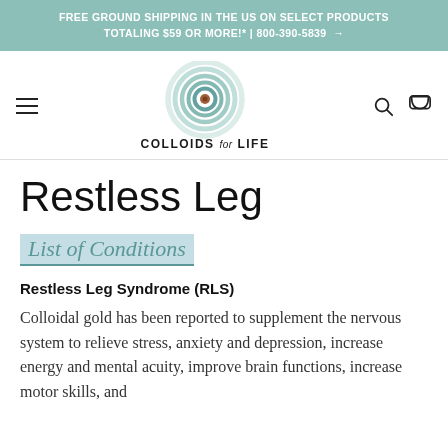FREE GROUND SHIPPING IN THE US ON SELECT PRODUCTS TOTALING $59 OR MORE!* | 800-390-5839 →
[Figure (logo): Colloids for Life logo with concentric circle target design in mint green and a brown center dot, with text COLLOIDS for LIFE below]
Restless Leg
List of Conditions
Restless Leg Syndrome (RLS)
Colloidal gold has been reported to supplement the nervous system to relieve stress, anxiety and depression, increase energy and mental acuity, improve brain functions, increase motor skills, and